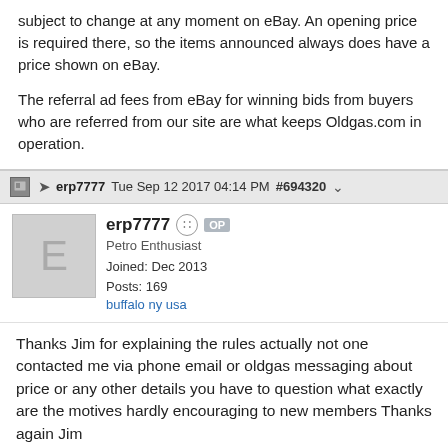subject to change at any moment on eBay. An opening price is required there, so the items announced always does have a price shown on eBay.
The referral ad fees from eBay for winning bids from buyers who are referred from our site are what keeps Oldgas.com in operation.
erp7777  Tue Sep 12 2017 04:14 PM  #694320
erp7777  OP
Petro Enthusiast
Joined: Dec 2013
Posts: 169
buffalo ny usa
Thanks Jim for explaining the rules actually not one contacted me via phone email or oldgas messaging about price or any other details you have to question what exactly are the motives hardly encouraging to new members Thanks again Jim
Hop To
For Sale Petroliana with prices
Page 1 of 2  1  2  >